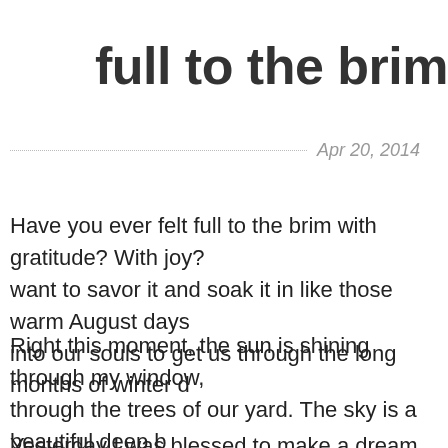full to the brim
Apr 20, 2014
Have you ever felt full to the brim with gratitude? With joy? want to savor it and soak it in like those warm August days into our souls to get us through the long months of winter d
Right this moment, the sun is shining through my window, through the trees of our yard. The sky is a beautiful deep b talking and laughing with one another while they hold the s
Yesterday I was blessed to make a dream come true for m ago when Hale Centre Theatre announced they were doin promised them I would take them. Of course we had noid